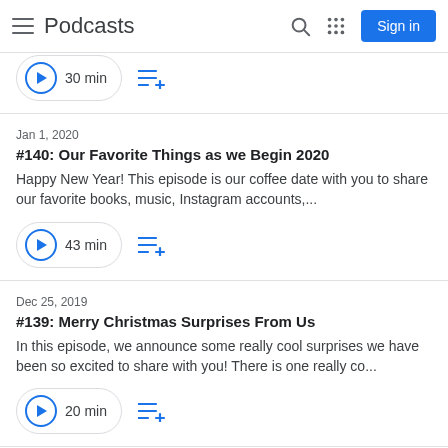Podcasts — Sign in
30 min
Jan 1, 2020
#140: Our Favorite Things as we Begin 2020
Happy New Year! This episode is our coffee date with you to share our favorite books, music, Instagram accounts,...
43 min
Dec 25, 2019
#139: Merry Christmas Surprises From Us
In this episode, we announce some really cool surprises we have been so excited to share with you! There is one really co...
20 min
Dec 18, 2019
#138: Family Vision for the Decade Ahead